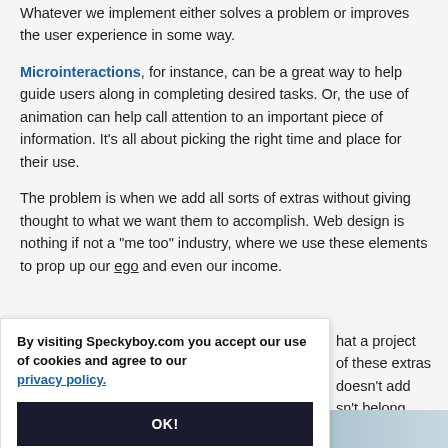Whatever we implement either solves a problem or improves the user experience in some way.
Microinteractions, for instance, can be a great way to help guide users along in completing desired tasks. Or, the use of animation can help call attention to an important piece of information. It's all about picking the right time and place for their use.
The problem is when we add all sorts of extras without giving thought to what we want them to accomplish. Web design is nothing if not a "me too" industry, where we use these elements to prop up our ego and even our income.
...that a project ...of these extras ...doesn't add ...sn't belong.
[Figure (screenshot): Cookie consent overlay popup with text 'By visiting Speckyboy.com you accept our use of cookies and agree to our privacy policy.' and an OK! button]
[Figure (photo): Partial image strip at the bottom of the page showing a blue-grey toned image]